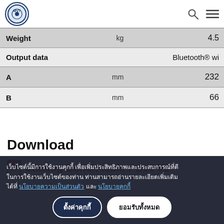MVT logo, search icon, menu icon
| Property | Unit | Value |
| --- | --- | --- |
| Weight | kg | 4.5 |
| Output data |  | Bluetooth® wi |
| A | mm | 232 |
| B | mm | 66 |
Download
Catalog Bench table PS16 V2
เว็บไซต์นี้มีการใช้งานคุกกี้ เพื่อเพิ่มประสิทธิภาพและประสบการณ์ที่ดีในการใช้งานเว็บไซต์ของท่าน ท่านสามารถอ่านรายละเอียดเพิ่มเติมได้ที่ นโยบายความเป็นส่วนตัว และ นโยบายคุกกี้
ตั้งค่าคุกกี้  ยอมรับทั้งหมด